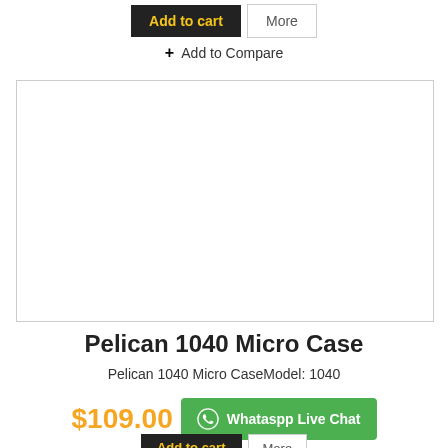[Figure (other): Add to cart and More buttons at top of product page]
+ Add to Compare
[Figure (other): Empty product image placeholder box with light border]
Pelican 1040 Micro Case
Pelican 1040 Micro CaseModel: 1040
$109.00
Whatsapp Live Chat
[Figure (other): Add to cart and More buttons at bottom of product page]